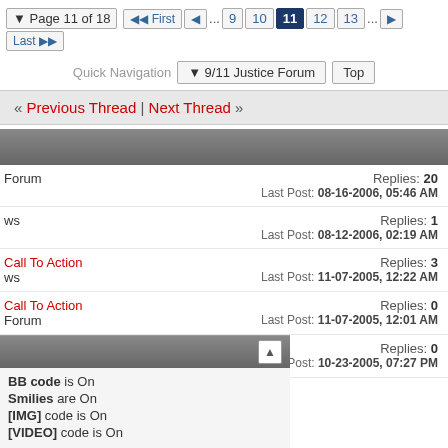Page 11 of 18  First  ... 9 10 11 12 13 ...  Last
Quick Navigation  9/11 Justice Forum  Top
« Previous Thread | Next Thread »
Replies: 20
Last Post: 08-16-2006, 05:46 AM
Forum
Replies: 1
Last Post: 08-12-2006, 02:19 AM
ws
Call To Action
Replies: 3
Last Post: 11-07-2005, 12:22 AM
ws
Call To Action
Replies: 0
Last Post: 11-07-2005, 12:01 AM
Forum
n Syria
Replies: 0
Last Post: 10-23-2005, 07:27 PM
ws
BB code is On
Smilies are On
[IMG] code is On
[VIDEO] code is On